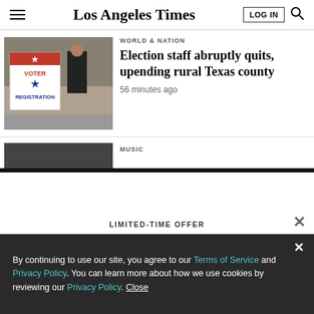Los Angeles Times
[Figure (photo): Voter registration sign with red and blue stars, person in background at what appears to be a registration table]
WORLD & NATION
Election staff abruptly quits, upending rural Texas county
56 minutes ago
MUSIC
LIMITED-TIME OFFER
$1 for 6 Months
SUBSCRIBE NOW
By continuing to use our site, you agree to our Terms of Service and Privacy Policy. You can learn more about how we use cookies by reviewing our Privacy Policy. Close